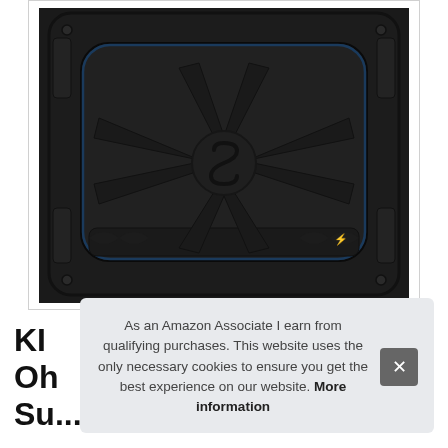[Figure (photo): Top-down view of a square Kicker subwoofer (car audio speaker) with black plastic housing, featuring the Kicker S logo in the center, ribbed surround edges, mounting corners, and blue accent trim visible around the cone edge.]
KI
Oh
Su...
As an Amazon Associate I earn from qualifying purchases. This website uses the only necessary cookies to ensure you get the best experience on our website. More information